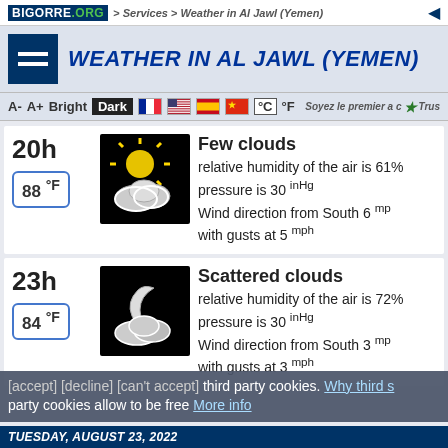BIGORRE .ORG > Services > Weather in Al Jawl (Yemen)
Weather in Al Jawl (Yemen)
A- A+ Bright Dark °C °F
20h — 88 °F — Few clouds — relative humidity of the air is 61% — pressure is 30 inHg — Wind direction from South 6 mph with gusts at 5 mph
23h — 84 °F — Scattered clouds — relative humidity of the air is 72% — pressure is 30 inHg — Wind direction from South 3 mph with gusts at 3 mph
[accept] [decline] [can't accept] third party cookies. Why third party cookies allow to be free More info
Tuesday, August 23, 2022